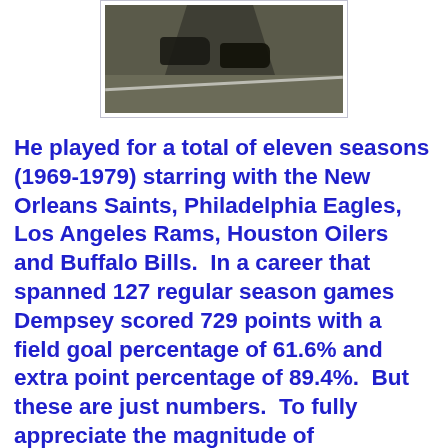[Figure (photo): Partial photo of Tom Dempsey's feet/shoes on a football field, showing legs from the knees down with a white yard line visible on the ground below]
He played for a total of eleven seasons (1969-1979) starring with the New Orleans Saints, Philadelphia Eagles, Los Angeles Rams, Houston Oilers and Buffalo Bills.  In a career that spanned 127 regular season games Dempsey scored 729 points with a field goal percentage of 61.6% and extra point percentage of 89.4%.  But these are just numbers.  To fully appreciate the magnitude of Dempsey's moment in time and his inspired life, one had to see him play in person.  Yours truly, along with my father, saw Tom Dempsey in person less than a month after his record-setting field goal when the Saints played the Rams at the LA Memorial Coliseum on Sunday, December 6, 1970.  While the hometown Rams prevailed 34-16